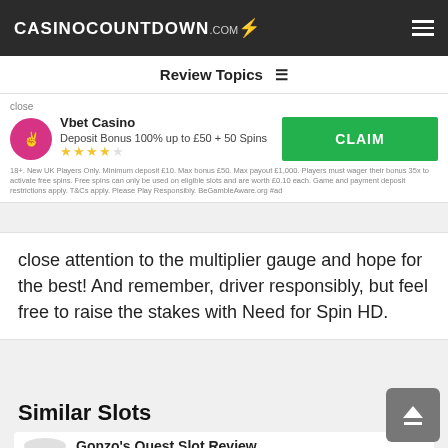CASINOCOUNTDOWN.COM
Review Topics ≡
close
Vbet Casino
Deposit Bonus 100% up to £50 + 50 Spins
CLAIM
18+. New UK Players Only. Minimum deposit £10. Max bonus £50. Max payout £1,000. Players must wager their bonus 35x to activate free spins. Free spins can only be used on eligible slots and are worth £0.10 each. Game and payment deposit restrictions apply. T&Cs apply. Please Play Responsibly. BeGambleAware.org #ad
close attention to the multiplier gauge and hope for the best! And remember, driver responsibly, but feel free to raise the stakes with Need for Spin HD.
Similar Slots
Gonzo's Quest Slot Review